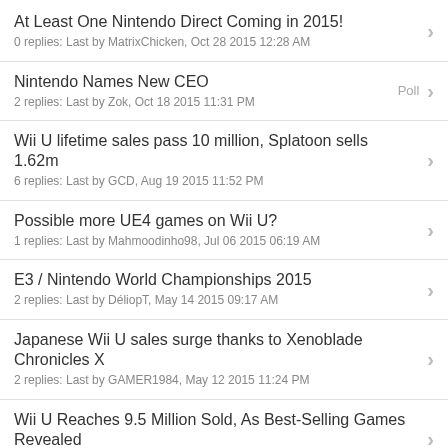At Least One Nintendo Direct Coming in 2015!
0 replies: Last by MatrixChicken, Oct 28 2015 12:28 AM
Nintendo Names New CEO
2 replies: Last by Zok, Oct 18 2015 11:31 PM
Wii U lifetime sales pass 10 million, Splatoon sells 1.62m
6 replies: Last by GCD, Aug 19 2015 11:52 PM
Possible more UE4 games on Wii U?
1 replies: Last by Mahmoodinho98, Jul 06 2015 06:19 AM
E3 / Nintendo World Championships 2015
2 replies: Last by DéliopT, May 14 2015 09:17 AM
Japanese Wii U sales surge thanks to Xenoblade Chronicles X
2 replies: Last by GAMER1984, May 12 2015 11:24 PM
Wii U Reaches 9.5 Million Sold, As Best-Selling Games Revealed
4 replies: Last by DéliopT, May 08 2015 08:14 AM
Wii U Continuing to Sell Well Since November